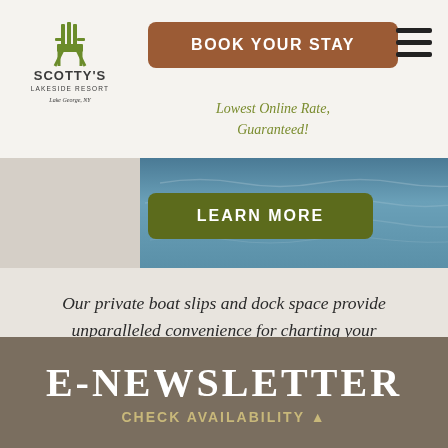[Figure (logo): Scotty's Lakeside Resort logo with green Adirondack chair, text SCOTTY'S LAKESIDE RESORT, Lake George, NY]
BOOK YOUR STAY
Lowest Online Rate, Guaranteed!
[Figure (photo): Water/lake surface aerial photo strip]
LEARN MORE
Our private boat slips and dock space provide unparalleled convenience for charting your adventures along the pristine waters of Lake George.
E-NEWSLETTER
CHECK AVAILABILITY ▲